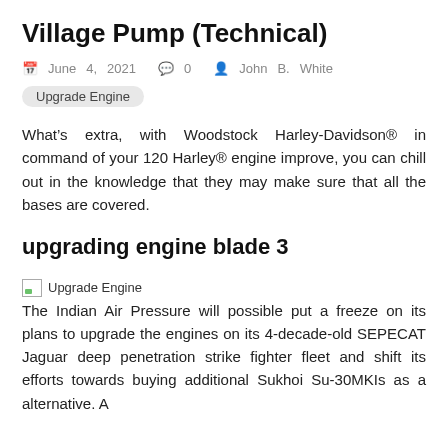Village Pump (Technical)
June 4, 2021   0   John B. White
Upgrade Engine
What’s extra, with Woodstock Harley-Davidson® in command of your 120 Harley® engine improve, you can chill out in the knowledge that they may make sure that all the bases are covered.
upgrading engine blade 3
[Figure (illustration): Small broken image icon labeled 'Upgrade Engine']
The Indian Air Pressure will possible put a freeze on its plans to upgrade the engines on its 4-decade-old SEPECAT Jaguar deep penetration strike fighter fleet and shift its efforts towards buying additional Sukhoi Su-30MKIs as a alternative. A